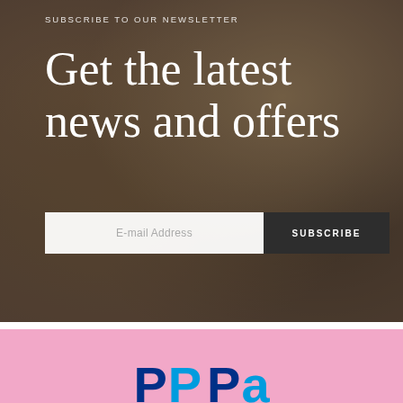[Figure (photo): Newsletter subscription section with a dark-toned background photo showing hands using a rolling pin on flour-dusted surface. White text overlay reads 'SUBSCRIBE TO OUR NEWSLETTER' and 'Get the latest news and offers'. An email input field and Subscribe button are shown.]
SUBSCRIBE TO OUR NEWSLETTER
Get the latest news and offers
E-mail Address
SUBSCRIBE
[Figure (logo): Pink background section with partial PayPal logo visible at the bottom (blue letters).]